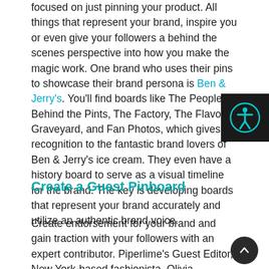focused on just pinning your product. All things that represent your brand, inspire you or even give your followers a behind the scenes perspective into how you make the magic work. One brand who uses their pins to showcase their brand persona is Ben & Jerry's. You'll find boards like The People Behind the Pints, The Factory, The Flavor Graveyard, and Fan Photos, which gives recognition to the fantastic brand lovers of Ben & Jerry's ice cream. They even have a history board to serve as a visual timeline for the brand. The key is developing boards that represent your brand accurately and utilize an authentic brand voice.
Create a Guest Pinboard
Create endorsement for your brand and gain traction with your followers with an expert contributor. Piperlime's Guest Editor, New York-based fashionista, Olivia Palermo, also serves as a